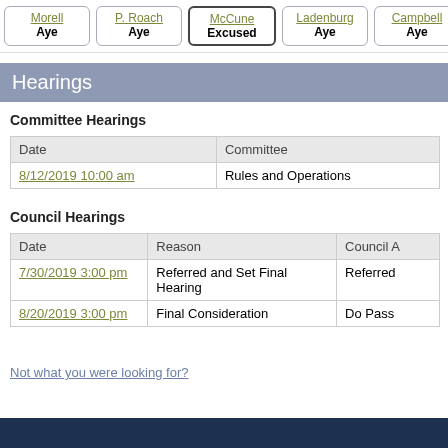| Name | Vote |
| --- | --- |
| Morell | Aye |
| P. Roach | Aye |
| McCune | Excused |
| Ladenburg | Aye |
| Campbell | Aye |
Hearings
Committee Hearings
| Date | Committee |
| --- | --- |
| 8/12/2019 10:00 am | Rules and Operations |
Council Hearings
| Date | Reason | Council A |
| --- | --- | --- |
| 7/30/2019 3:00 pm | Referred and Set Final Hearing | Referred |
| 8/20/2019 3:00 pm | Final Consideration | Do Pass |
Not what you were looking for?